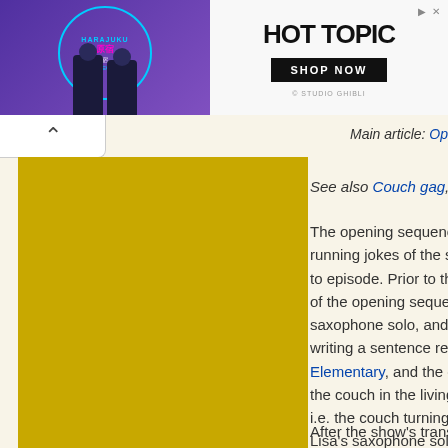[Figure (photo): Advertisement banner for Hot Topic featuring Harajuku Collective branding with two anime-style costumed figures on a purple background, with Hot Topic logo and 'SHOP NOW' button on the right, and © Studio Ghibli credit.]
Main article: Opening sequence
See also Couch gag, Chalkboard gag
The opening sequence is one of the most famous running jokes of the series. The open... to episode. Prior to the show's transiti... of the opening sequence constantly c... saxophone solo, and a couch gag. Th... writing a sentence repeatedly on a ch... Elementary, and the couch gag involv... the couch in the living room, usually a... i.e. the couch turning into a giant octo... Lisa's saxophone solo in the opening... episode.
After the show's transition to HD form...